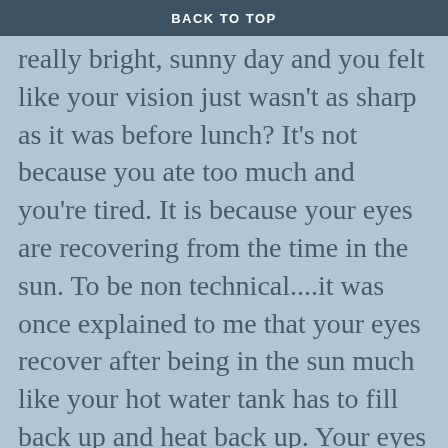BACK TO TOP
really bright, sunny day and you felt like your vision just wasn't as sharp as it was before lunch? It's not because you ate too much and you're tired. It is because your eyes are recovering from the time in the sun. To be non technical....it was once explained to me that your eyes recover after being in the sun much like your hot water tank has to fill back up and heat back up. Your eyes are recovering in the same fashion. Now, for the technical explanation....Sun, or intense sun glare from snow and sand, can cause a sunburn like effect in the eye which